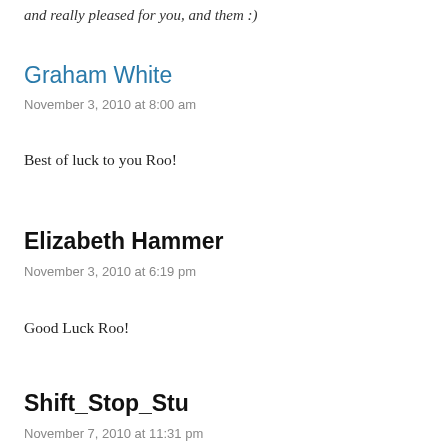and really pleased for you, and them :)
Graham White
November 3, 2010 at 8:00 am
Best of luck to you Roo!
Elizabeth Hammer
November 3, 2010 at 6:19 pm
Good Luck Roo!
Shift_Stop_Stu
November 7, 2010 at 11:31 pm